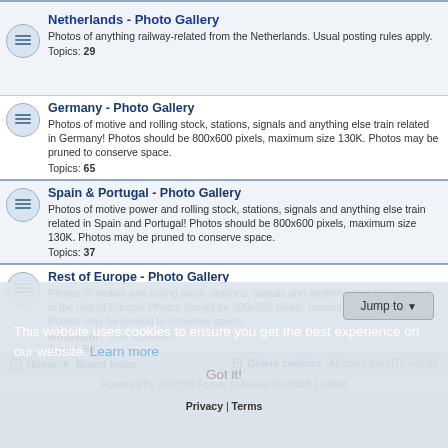Netherlands - Photo Gallery
Photos of anything railway-related from the Netherlands. Usual posting rules apply.
Topics: 29
Germany - Photo Gallery
Photos of motive and rolling stock, stations, signals and anything else train related in Germany! Photos should be 800x600 pixels, maximum size 130K. Photos may be pruned to conserve space.
Topics: 65
Spain & Portugal - Photo Gallery
Photos of motive power and rolling stock, stations, signals and anything else train related in Spain and Portugal! Photos should be 800x600 pixels, maximum size 130K. Photos may be pruned to conserve space.
Topics: 37
Rest of Europe - Photo Gallery
Photos of motive and rolling stock, stations, signals and anything else train related in the rest of Europe! Photos should be 800x600 pixels, maximum size 130K. Photos may be pruned to conserve space.
Moderator: John Ashworth
Topics: 50
This website uses cookies to ensure you get the best experience on our website. Learn more
Got it!
Home · Board index   Delete cookies   All times are UTC+02:00
Powered by phpBB® Forum Software © phpBB Limited
Privacy | Terms